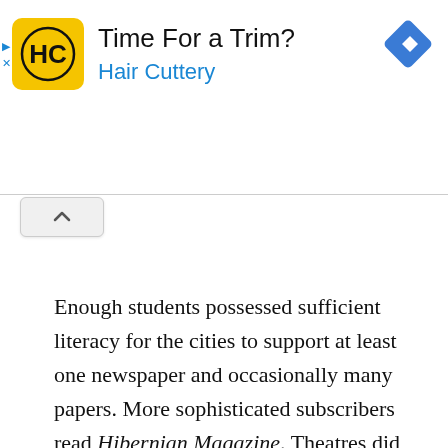[Figure (other): Hair Cuttery advertisement banner with yellow HC logo, title 'Time For a Trim?', subtitle 'Hair Cuttery', a blue diamond navigation icon, and ad control buttons.]
Enough students possessed sufficient literacy for the cities to support at least one newspaper and occasionally many papers. More sophisticated subscribers read Hibernian Magazine. Theatres did a brisk business entertaining a story-loving people. Dublin supported a lending library, and booksellers made a living off scholars and the well-to-do. But McDowell, the critic, said that the general state of Irish letters was poor then, the glory years of the